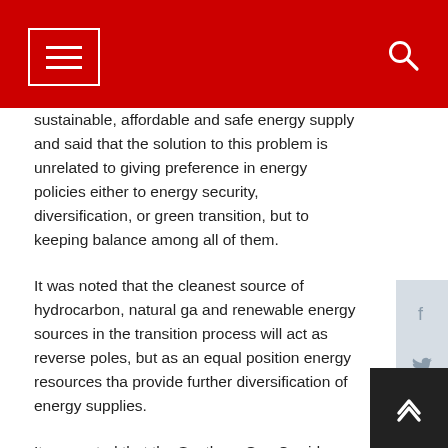sustainable, affordable and safe energy supply and said that the solution to this problem is unrelated to giving preference in energy policies either to energy security, diversification, or green transition, but to keeping balance among all of them.
It was noted that the cleanest source of hydrocarbon, natural gas and renewable energy sources in the transition process will act as reverse poles, but as an equal position energy resources that provide further diversification of energy supplies.
It was noted that the Southern Gas Corridor reaffirmed its strategic importance by providing European consumers with uninterrupted and affordable natural gas during the energy crisis. Azerbaijan is determined to continue its role as a reliable energy supplier for the region and Europe:
"So far, TAP has supplied 11.6 billion cubic meters (bcm) of gas to Europe.  Out of the 3.5 bcm exported from Azerbaijan to Europe in